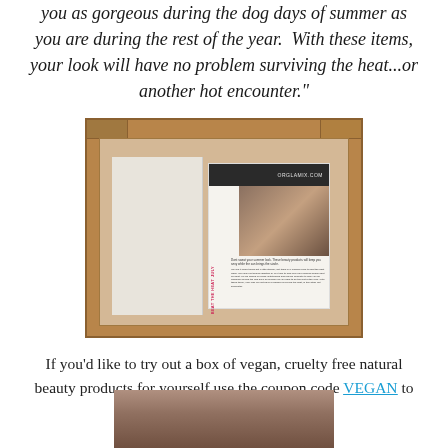you as gorgeous during the dog days of summer as you are during the rest of the year.  With these items, your look will have no problem surviving the heat...or another hot encounter."
[Figure (photo): Open cardboard box with white shredded paper packing material and an Orglamix beauty subscription box insert/card inside showing 'JULY BEAT THE HEAT' theme with a woman's face profile]
If you'd like to try out a box of vegan, cruelty free natural beauty products for yourself use the coupon code VEGAN to save 25%.
[Figure (photo): Partial photo at bottom of page, appears to show beauty products]